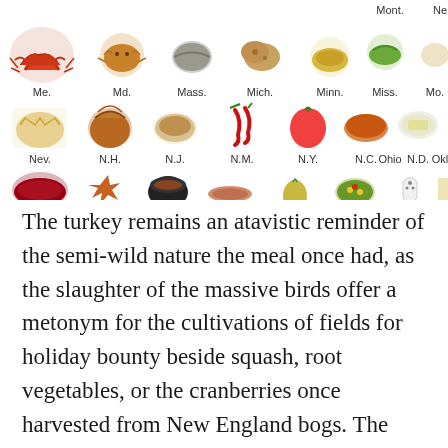[Figure (illustration): Grid of illustrated state foods with state abbreviation labels beneath each food image. Three visible rows showing various U.S. state foods including lobster (Me.), crab cake (Md.), oysters (Mass.), potatoes (Mich.), wild rice dish (Minn.), Mississippi mud dish (Miss.), toasted ravioli (Mo.), huckleberries (Mont.), and partial Ne. row; second row: Nev., N.H., N.J., N.M., N.Y., N.C., N.D., Ohio, Okl. (partial); third row: cranberries, crawfish, black pot dish, ham, pear, succotash, tamale, salt shaker, and partial item.]
The turkey remains an atavistic reminder of the semi-wild nature the meal once had, as the slaughter of the massive birds offer a metonym for the cultivations of fields for holiday bounty beside squash, root vegetables, or the cranberries once harvested from New England bogs. The filling of plates is a reminder of the taking possession of the land by transporting